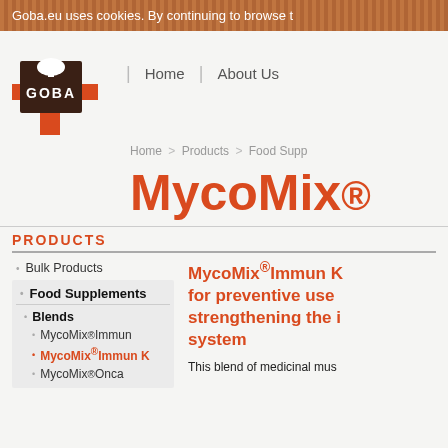Goba.eu uses cookies. By continuing to browse t
[Figure (logo): GOBA logo: dark brown square with white mushroom icon on top, orange cross/plus extending below]
Home | About Us
Home > Products > Food Supp
MycoMix
PRODUCTS
Bulk Products
Food Supplements
Blends
MycoMix®Immun
MycoMix®Immun K
MycoMix®Onca
MycoMix®Immun K for preventive use strengthening the i system
This blend of medicinal mus